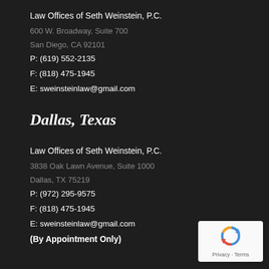Law Offices of Seth Weinstein, P.C.
600 W. Broadway, Suite 700
San Diego, CA 92101
P: (619) 552-2135
F: (818) 475-1945
E: sweinsteinlaw@gmail.com
Dallas, Texas
Law Offices of Seth Weinstein, P.C.
3838 Oak Lawn Avenue, Suite 1000
Dallas, TX 75219
P: (972) 295-9575
F: (818) 475-1945
E: sweinsteinlaw@gmail.com
(By Appointment Only)
[Figure (logo): reCAPTCHA badge with Privacy and Terms text]